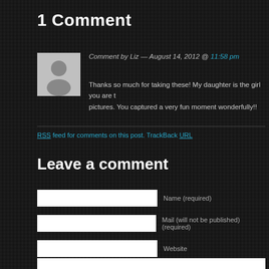1 Comment
[Figure (illustration): Default user avatar — grey silhouette of a person on light grey background]
Comment by Liz — August 14, 2012 @ 11:58 pm
Thanks so much for taking these! My daughter is the girl you are t… pictures. You captured a very fun moment wonderfully!!
RSS feed for comments on this post. TrackBack URL
Leave a comment
Name (required)
Mail (will not be published) (required)
Website